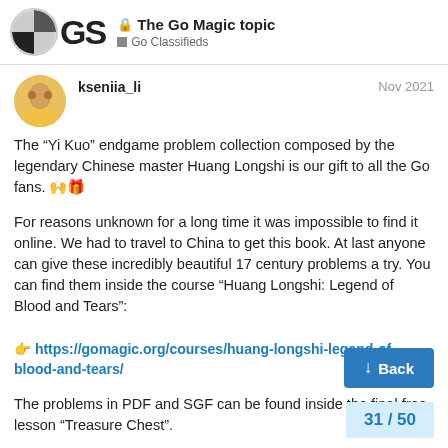The Go Magic topic | Go Classifieds
kseniia_li | Nov 2021
The “Yi Kuo” endgame problem collection composed by the legendary Chinese master Huang Longshi is our gift to all the Go fans. 🙌🎁
For reasons unknown for a long time it was impossible to find it online. We had to travel to China to get this book. At last anyone can give these incredibly beautiful 17 century problems a try. You can find them inside the course “Huang Longshi: Legend of Blood and Tears":
👉 https://gomagic.org/courses/huang-longshi-legend-of-blood-and-tears/
The problems in PDF and SGF can be found inside the final free lesson “Treasure Chest”.